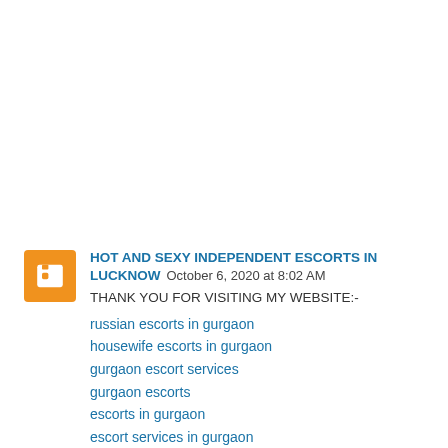HOT AND SEXY INDEPENDENT ESCORTS IN LUCKNOW October 6, 2020 at 8:02 AM
THANK YOU FOR VISITING MY WEBSITE:-
russian escorts in gurgaon
housewife escorts in gurgaon
gurgaon escort services
gurgaon escorts
escorts in gurgaon
escort services in gurgaon
gurgaon call girls